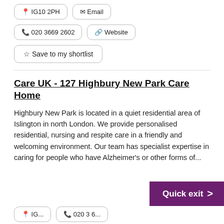📍 IG10 2PH   ✉ Email
📞 020 3669 2602   🔗 Website
☆ Save to my shortlist
Care UK - 127 Highbury New Park Care Home
Highbury New Park is located in a quiet residential area of Islington in north London. We provide personalised residential, nursing and respite care in a friendly and welcoming environment. Our team has specialist expertise in caring for people who have Alzheimer's or other forms of...
Quick exit >